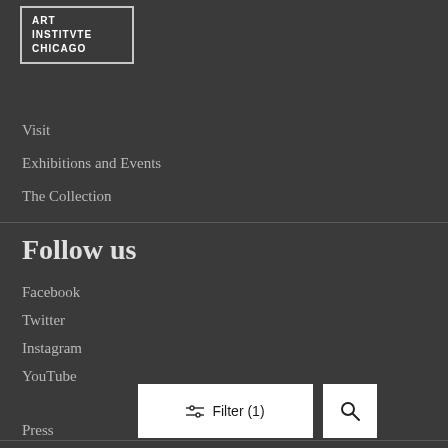[Figure (logo): Art Institute Chicago logo in a bordered box with white text]
Visit
Exhibitions and Events
The Collection
Follow us
Facebook
Twitter
Instagram
YouTube
[Figure (screenshot): Filter (1) button with sliders icon and search magnifier button]
Press